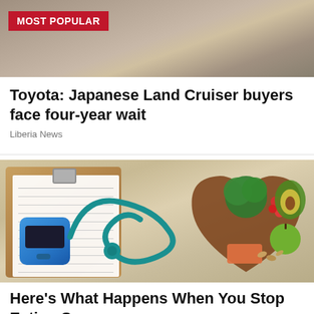[Figure (photo): Aerial or ground-level photo of sandy/rocky terrain, dark soil or rock visible at top]
MOST POPULAR
Toyota: Japanese Land Cruiser buyers face four-year wait
Liberia News
[Figure (photo): Overhead photo showing a clipboard with blood glucose testing record form, a blue glucometer device, a teal stethoscope, and a heart-shaped wooden bowl filled with healthy foods: broccoli, cherry tomatoes, avocado, green apple, salmon, almonds, on a wooden surface]
Here's What Happens When You Stop Eating Sugar